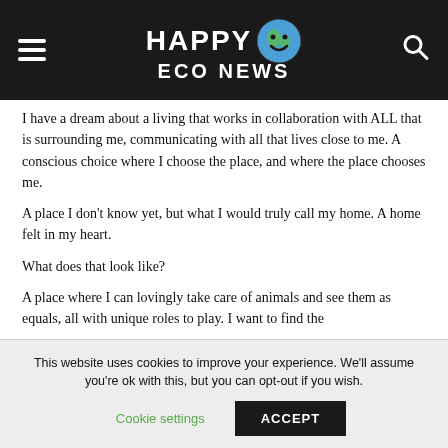HAPPY ECO NEWS
I have a dream about a living that works in collaboration with ALL that is surrounding me, communicating with all that lives close to me. A conscious choice where I choose the place, and where the place chooses me.
A place I don't know yet, but what I would truly call my home. A home felt in my heart.
What does that look like?
A place where I can lovingly take care of animals and see them as equals, all with unique roles to play. I want to find the
This website uses cookies to improve your experience. We'll assume you're ok with this, but you can opt-out if you wish. Cookie settings ACCEPT